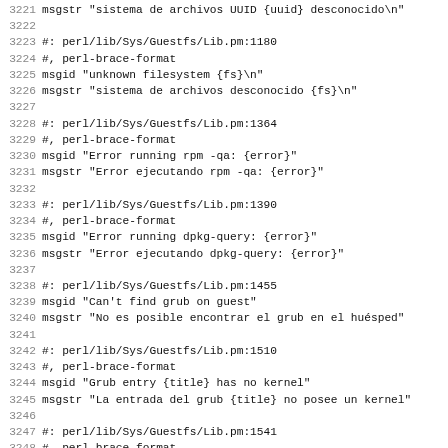Code listing lines 3221-3252, gettext PO file Spanish translation for perl/lib/Sys/Guestfs/Lib.pm
3221 msgstr "sistema de archivos UUID {uuid} desconocido\n"
3222
3223 #: perl/lib/Sys/Guestfs/Lib.pm:1180
3224 #, perl-brace-format
3225 msgid "unknown filesystem {fs}\n"
3226 msgstr "sistema de archivos desconocido {fs}\n"
3227
3228 #: perl/lib/Sys/Guestfs/Lib.pm:1364
3229 #, perl-brace-format
3230 msgid "Error running rpm -qa: {error}"
3231 msgstr "Error ejecutando rpm -qa: {error}"
3232
3233 #: perl/lib/Sys/Guestfs/Lib.pm:1390
3234 #, perl-brace-format
3235 msgid "Error running dpkg-query: {error}"
3236 msgstr "Error ejecutando dpkg-query: {error}"
3237
3238 #: perl/lib/Sys/Guestfs/Lib.pm:1455
3239 msgid "Can't find grub on guest"
3240 msgstr "No es posible encontrar el grub en el huésped"
3241
3242 #: perl/lib/Sys/Guestfs/Lib.pm:1510
3243 #, perl-brace-format
3244 msgid "Grub entry {title} has no kernel"
3245 msgstr "La entrada del grub {title} no posee un kernel"
3246
3247 #: perl/lib/Sys/Guestfs/Lib.pm:1541
3248 #, perl-brace-format
3249 msgid "grub refers to {path}, which doesn't exist\n"
3250 msgstr "el grub hace referencia a {path}, que no existe"
3251
3252 #: perl/lib/Sys/Guestfs/Lib.pm:1564